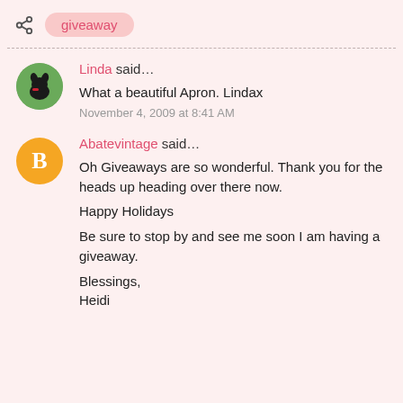giveaway
Linda said…
What a beautiful Apron. Lindax
November 4, 2009 at 8:41 AM
Abatevintage said…
Oh Giveaways are so wonderful. Thank you for the heads up heading over there now.

Happy Holidays

Be sure to stop by and see me soon I am having a giveaway.

Blessings,
Heidi